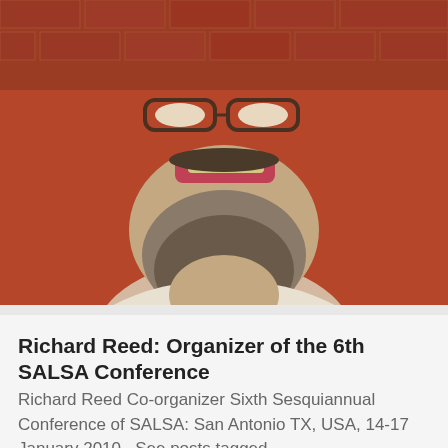[Figure (photo): Close-up photo of a bearded man with gray beard smiling, in front of a red brick wall, wearing a white shirt. The top half of his face is cropped out, showing from nose down.]
Richard Reed: Organizer of the 6th SALSA Conference
Richard Reed Co-organizer Sixth Sesquiannual Conference of SALSA: San Antonio TX, USA, 14-17 January 2010   See posts tagged...
[Figure (photo): Photo of a younger man with dark hair, partially visible, cropped at the bottom of the page, with a green background element behind him.]